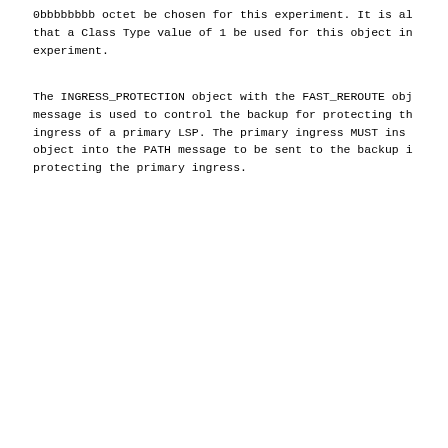0bbbbbbbb octet be chosen for this experiment.  It is also recommended that a Class Type value of 1 be used for this object in the experiment.
The INGRESS_PROTECTION object with the FAST_REROUTE object in a PATH message is used to control the backup for protecting the ingress of a primary LSP.  The primary ingress MUST insert this object into the PATH message to be sent to the backup ingress protecting the primary ingress.